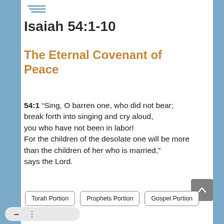[Figure (logo): Small decorative logo/icon in top left area]
Isaiah 54:1-10
The Eternal Covenant of Peace
54:1 “Sing, O barren one, who did not bear;
break forth into singing and cry aloud, you who have not been in labor!
For the children of the desolate one will be more
than the children of her who is married,” says the Lord.
Torah Portion
Prophets Portion
Gospel Portion